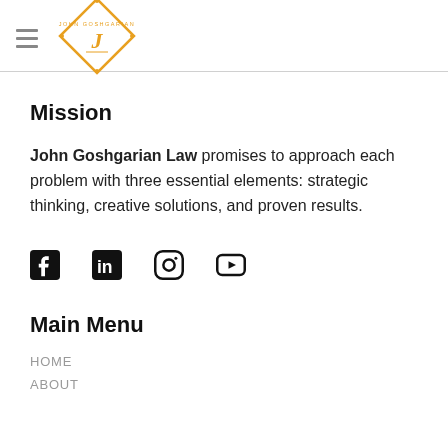John Goshgarian Law logo and navigation
Mission
John Goshgarian Law promises to approach each problem with three essential elements: strategic thinking, creative solutions, and proven results.
[Figure (logo): Social media icons: Facebook, LinkedIn, Instagram, YouTube]
Main Menu
HOME
ABOUT